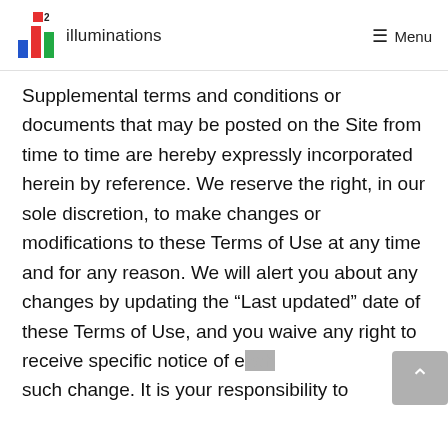illuminations — Menu
Supplemental terms and conditions or documents that may be posted on the Site from time to time are hereby expressly incorporated herein by reference. We reserve the right, in our sole discretion, to make changes or modifications to these Terms of Use at any time and for any reason. We will alert you about any changes by updating the “Last updated” date of these Terms of Use, and you waive any right to receive specific notice of each such change. It is your responsibility to